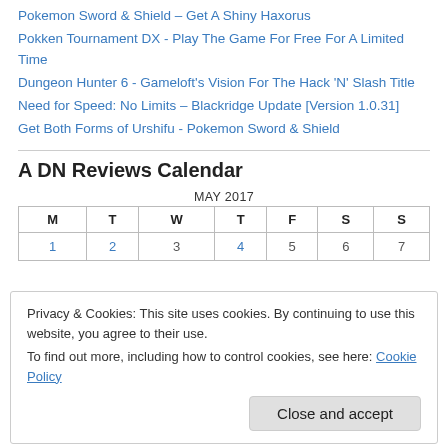Pokemon Sword & Shield – Get A Shiny Haxorus
Pokken Tournament DX - Play The Game For Free For A Limited Time
Dungeon Hunter 6 - Gameloft's Vision For The Hack 'N' Slash Title
Need for Speed: No Limits – Blackridge Update [Version 1.0.31]
Get Both Forms of Urshifu - Pokemon Sword & Shield
A DN Reviews Calendar
| M | T | W | T | F | S | S |
| --- | --- | --- | --- | --- | --- | --- |
| 1 | 2 | 3 | 4 | 5 | 6 | 7 |
Privacy & Cookies: This site uses cookies. By continuing to use this website, you agree to their use. To find out more, including how to control cookies, see here: Cookie Policy
Close and accept